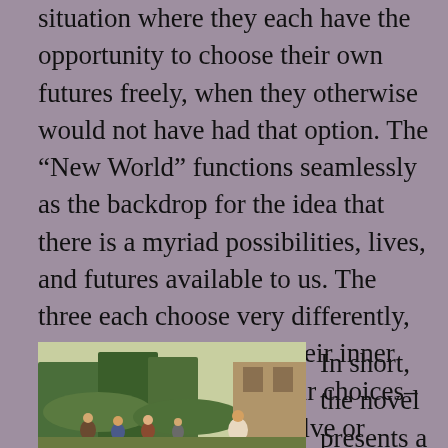situation where they each have the opportunity to choose their own futures freely, when they otherwise would not have had that option. The “New World” functions seamlessly as the backdrop for the idea that there is a myriad possibilities, lives, and futures available to us. The three each choose very differently, and the reader can see their inner lives as they live out their choices–how their characters evolve or devolve.
[Figure (illustration): A painting depicting a group of people, including children, in an outdoor garden or rural setting with trees and a building in the background.]
In short, the novel presents a